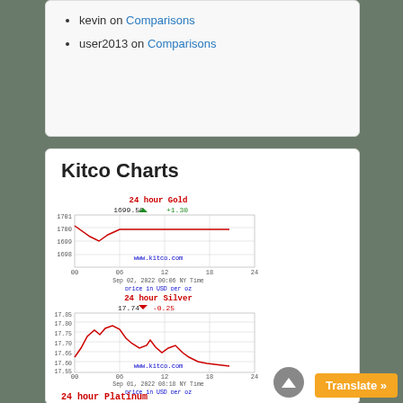kevin on Comparisons
user2013 on Comparisons
Kitco Charts
[Figure (continuous-plot): 24 hour Gold chart from kitco.com. Price: 1699.50, change: +1.30 (green up arrow). Y-axis: 1698-1701. X-axis: 00 06 12 18 24. Date: Sep 02, 2022 00:06 NY Time. Price in USD per oz. Shows a brief dip near 1699.50.]
[Figure (continuous-plot): 24 hour Silver chart from kitco.com. Price: 17.74, change: -0.25 (red down arrow). Y-axis: 17.55-17.85. X-axis: 00 06 12 18 24. Date: Sep 01, 2022 08:18 NY Time. Price in USD per oz. Shows jagged price movements peaking around 17.80.]
24 hour Platinum